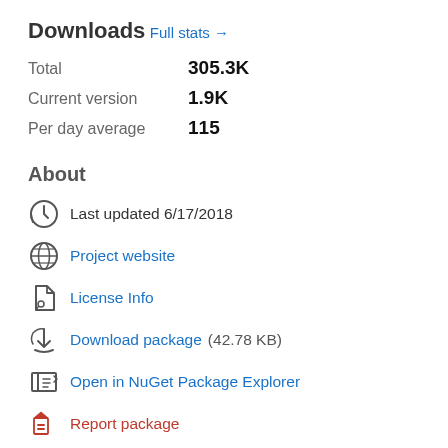Downloads
Full stats →
Total   305.3K
Current version   1.9K
Per day average   115
About
Last updated 6/17/2018
Project website
License Info
Download package  (42.78 KB)
Open in NuGet Package Explorer
Report package